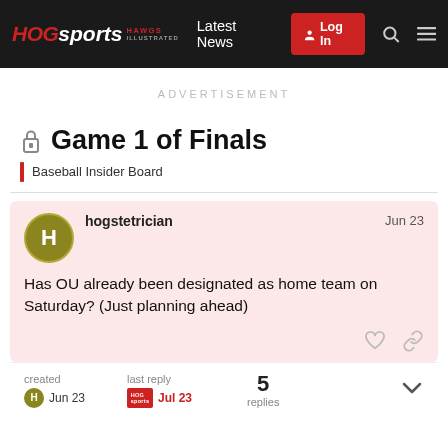HOG sports HAWGS ILLUSTRATED | Latest News | Log In
ADVERTISEMENT
Game 1 of Finals
Baseball Insider Board
hogstetricianJun 23
Has OU already been designated as home team on Saturday? (Just planning ahead)
created Jun 23   last reply Jul 23   5 replies